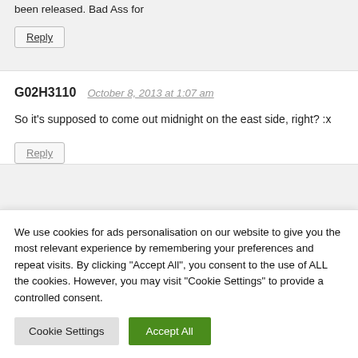been released. Bad Ass for
Reply
G02H3110  October 8, 2013 at 1:07 am
So it's supposed to come out midnight on the east side, right? :x
Reply
We use cookies for ads personalisation on our website to give you the most relevant experience by remembering your preferences and repeat visits. By clicking "Accept All", you consent to the use of ALL the cookies. However, you may visit "Cookie Settings" to provide a controlled consent.
Cookie Settings
Accept All